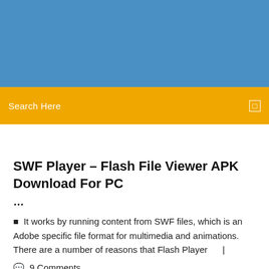[Figure (other): Blue banner/header area at top of webpage]
Search Here
SWF Player – Flash File Viewer APK Download For PC ...
It works by running content from SWF files, which is an Adobe specific file format for multimedia and animations. There are a number of reasons that Flash Player    |
9 Comments